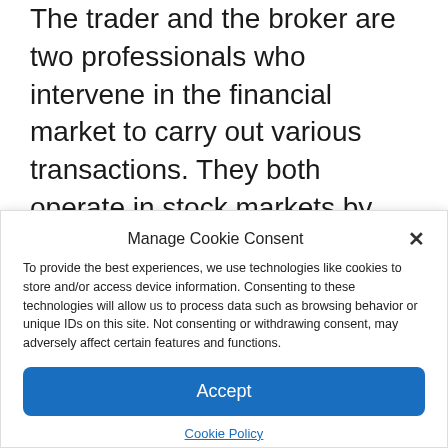The trader and the broker are two professionals who intervene in the financial market to carry out various transactions. They both operate in stock markets by buying and selling stocks. But, while one gives orders, the other executes.
The trader and the broker have
[Figure (screenshot): Cookie consent modal dialog with title 'Manage Cookie Consent', a close X button, descriptive text about cookies and data processing, an 'Accept' button, and a 'Cookie Policy' link.]